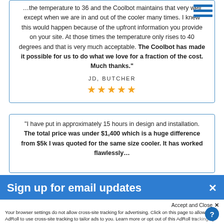the temperature to 36 and the Coolbot maintains that very well except when we are in and out of the cooler many times. I knew this would happen because of the upfront information you provide on your site. At those times the temperature only rises to 40 degrees and that is very much acceptable. The Coolbot has made it possible for us to do what we love for a fraction of the cost. Much thanks."
JD, BUTCHER
[Figure (other): Five gold star rating icons]
"I have put in approximately 15 hours in design and installation. The total price was under $1,400 which is a huge difference from $5k I was quoted for the same size cooler. It has worked flawlessly...
Sign up for email updates
Accept and Close ✕
Your browser settings do not allow cross-site tracking for advertising. Click on this page to allow AdRoll to use cross-site tracking to tailor ads to you. Learn more or opt out of this AdRoll tracking by clicking here. This message only appears once.